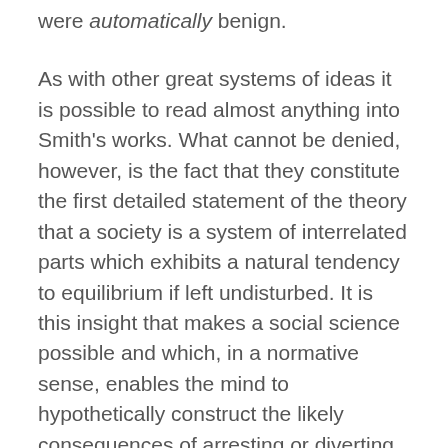were automatically benign.
As with other great systems of ideas it is possible to read almost anything into Smith's works. What cannot be denied, however, is the fact that they constitute the first detailed statement of the theory that a society is a system of interrelated parts which exhibits a natural tendency to equilibrium if left undisturbed. It is this insight that makes a social science possible and which, in a normative sense, enables the mind to hypothetically construct the likely consequences of arresting or diverting these natural processes. In the light of this discovery the offence of 'inconsistency' seems